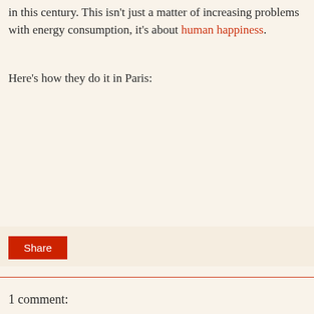in this century. This isn't just a matter of increasing problems with energy consumption, it's about human happiness.
Here's how they do it in Paris:
[Figure (other): Large empty/blank content area representing an embedded video or image placeholder about Paris]
Share
1 comment: